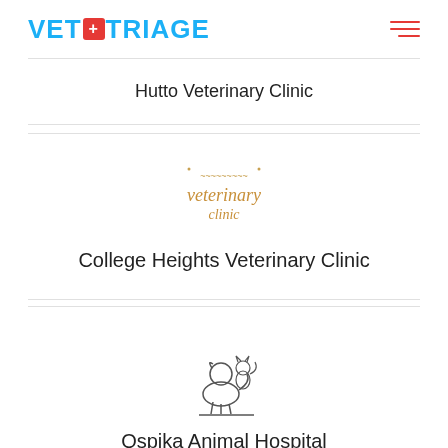[Figure (logo): VetTriage logo with red cross icon and cyan/blue text]
Hutto Veterinary Clinic
[Figure (logo): Veterinary Clinic logo in orange/brown with animals silhouette]
College Heights Veterinary Clinic
[Figure (logo): Ospika Animal Hospital logo with outline drawing of dog and cat]
Ospika Animal Hospital
[Figure (logo): Partial green circular logo visible at bottom]